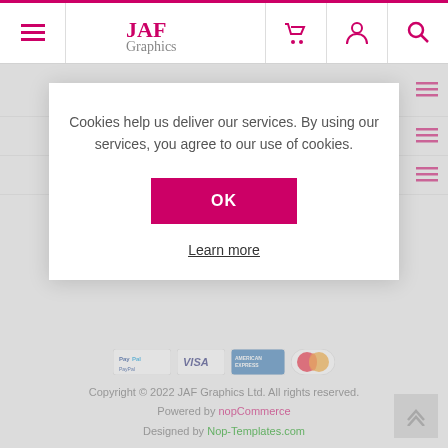JAF Graphics — navigation bar with menu, cart, account, search icons
CUSTOMER SERVICE
Cookies help us deliver our services. By using our services, you agree to our use of cookies.
OK
Learn more
[Figure (other): Payment method logos: PayPal, Visa, American Express, Mastercard]
Copyright © 2022 JAF Graphics Ltd. All rights reserved. Powered by nopCommerce. Designed by Nop-Templates.com